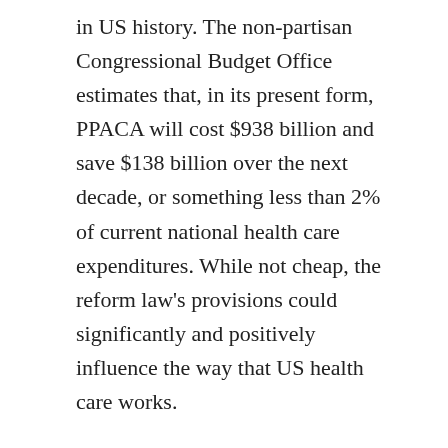in US history. The non-partisan Congressional Budget Office estimates that, in its present form, PPACA will cost $938 billion and save $138 billion over the next decade, or something less than 2% of current national health care expenditures. While not cheap, the reform law's provisions could significantly and positively influence the way that US health care works.
Perhaps the insights of Robert Caro, the two-time Pulitzer prize winner for his biographies explicating political power, are of value here. In an NPR interview this weekend, he compared the health care reform law's progress to Lyndon Johnson's challenge with the civil rights bill, noting:
I myself think this health insurance bill has a lot of